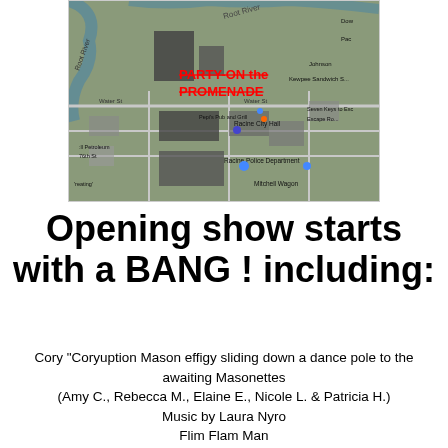[Figure (map): Aerial satellite map of Racine, WI area showing Root River, Racine City Hall, Racine Police Department, Pepi's Pub and Grill, Mitchell Wagon, and other landmarks. Red bold text reading 'PARTY-ON the PROMENADE' overlaid on the map.]
Opening show starts with a BANG ! including:
Cory "Coryuption Mason effigy sliding down a dance pole to the awaiting Masonettes
(Amy C., Rebecca M., Elaine E., Nicole L. & Patricia H.)
Music by Laura Nyro
Flim Flam Man
https://www.youtube.com/watch?v=zAjy5sz8Y7A